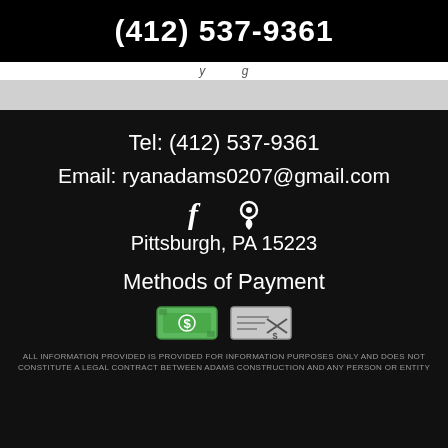(412) 537-9361
Tel: (412) 537-9361
Email: ryanadams0207@gmail.com
[Figure (illustration): Facebook icon and location pin icon]
Pittsburgh, PA 15223
Methods of Payment
[Figure (illustration): Cash payment icon (green dollar bill) and check/electronic payment icon]
ALL INFORMATION PROVIDED IS PROVIDED FOR INFORMATION PURPOSES ONLY AND DOES NOT CONSTITUTE A LEGAL CONTRACT BETWEEN ADAMS CONSTRUCTION AND ANY PERSON OR ENTITY